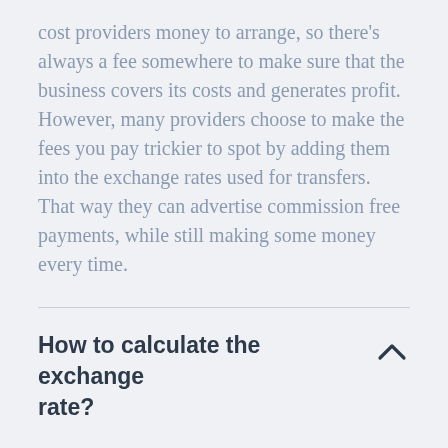cost providers money to arrange, so there's always a fee somewhere to make sure that the business covers its costs and generates profit. However, many providers choose to make the fees you pay trickier to spot by adding them into the exchange rates used for transfers. That way they can advertise commission free payments, while still making some money every time.
How to calculate the exchange rate?